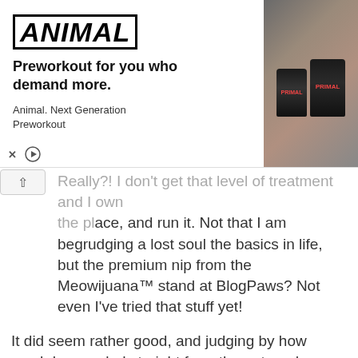[Figure (other): Advertisement banner for Animal brand preworkout supplement. Left side shows ANIMAL logo in bold italic block letters, headline 'Preworkout for you who demand more.' and subtext 'Animal. Next Generation Preworkout'. Right side shows photo of two dark supplement cans labeled PRIMAL in a gym setting. Bottom left has close/skip ad controls (X and play icon).]
Really?! I don't get that level of treatment and I own the place, and run it. Not that I am begrudging a lost soul the basics in life, but the premium nip from the Meowijuana™ stand at BlogPaws? Not even I've tried that stuff yet!
It did seem rather good, and judging by how much he guzzled straight from the pot, and sprinkled on his breakfast, post lunch snack, evening tea and then early morning pre-starter, I'd say it was the best nip ever!
In fact I'm really surprised he could walk in a straight line again, ever!
Come on now. Really what is all the fuss.... yes he was adorably cute and cuddly but he didn't belong here, and he had to go, permanently.
You did the right thing after all sending him on his way.